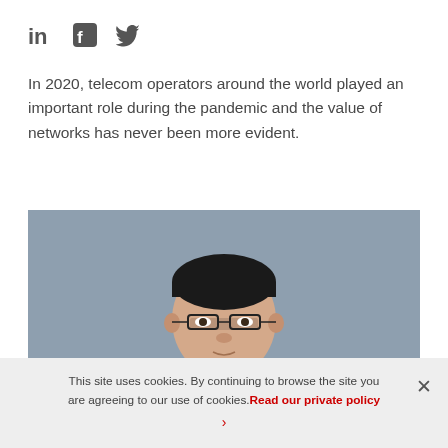[Figure (other): Social media icons: LinkedIn, Facebook, Twitter]
In 2020, telecom operators around the world played an important role during the pandemic and the value of networks has never been more evident.
[Figure (photo): Professional headshot of an Asian man wearing glasses, a dark navy suit, light blue shirt, and red patterned tie, against a gray background.]
This site uses cookies. By continuing to browse the site you are agreeing to our use of cookies. Read our private policy ›